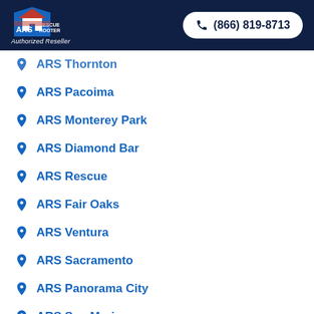ARS Rescue Rooter — Authorized Reseller | (866) 819-8713
ARS Thornton
ARS Pacoima
ARS Monterey Park
ARS Diamond Bar
ARS Rescue
ARS Fair Oaks
ARS Ventura
ARS Sacramento
ARS Panorama City
ARS San Marino
ARS Glendora